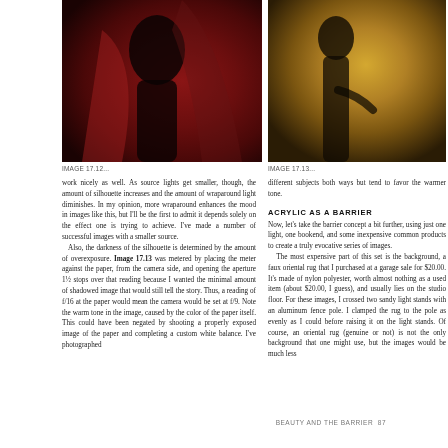[Figure (photo): Dark silhouette of a figure against a deep red/crimson background, moody studio photography]
[Figure (photo): Silhouette of a figure against a warm golden/amber background, moody studio photography]
IMAGE 17.12...
IMAGE 17.13...
work nicely as well. As source lights get smaller, though, the amount of silhouette increases and the amount of wraparound light diminishes. In my opinion, more wraparound enhances the mood in images like this, but I'll be the first to admit it depends solely on the effect one is trying to achieve. I've made a number of successful images with a smaller source.
  Also, the darkness of the silhouette is determined by the amount of overexposure. Image 17.13 was metered by placing the meter against the paper, from the camera side, and opening the aperture 1½ stops over that reading because I wanted the minimal amount of shadowed image that would still tell the story. Thus, a reading of f/16 at the paper would mean the camera would be set at f/9. Note the warm tone in the image, caused by the color of the paper itself. This could have been negated by shooting a properly exposed image of the paper and completing a custom white balance. I've photographed
different subjects both ways but tend to favor the warmer tone.
ACRYLIC AS A BARRIER
Now, let's take the barrier concept a bit further, using just one light, one bookend, and some inexpensive common products to create a truly evocative series of images.
  The most expensive part of this set is the background, a faux oriental rug that I purchased at a garage sale for $20.00. It's made of nylon polyester, worth almost nothing as a used item (about $20.00, I guess), and usually lies on the studio floor. For these images, I crossed two sandy light stands with an aluminum fence pole. I clamped the rug to the pole as evenly as I could before raising it on the light stands. Of course, an oriental rug (genuine or not) is not the only background that one might use, but the images would be much less
BEAUTY AND THE BARRIER  87